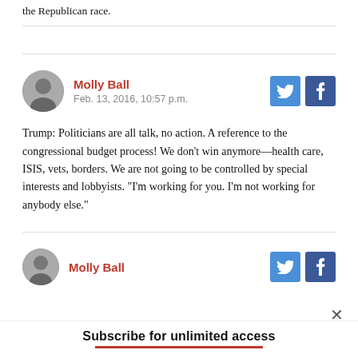the Republican race.
Molly Ball
Feb. 13, 2016, 10:57 p.m.
Trump: Politicians are all talk, no action. A reference to the congressional budget process! We don't win anymore—health care, ISIS, vets, borders. We are not going to be controlled by special interests and lobbyists. "I'm working for you. I'm not working for anybody else."
Molly Ball
Subscribe for unlimited access